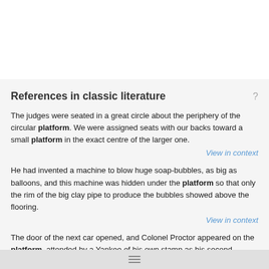References in classic literature
The judges were seated in a great circle about the periphery of the circular platform. We were assigned seats with our backs toward a small platform in the exact centre of the larger one.
View in context
He had invented a machine to blow huge soap-bubbles, as big as balloons, and this machine was hidden under the platform so that only the rim of the big clay pipe to produce the bubbles showed above the flooring.
View in context
The door of the next car opened, and Colonel Proctor appeared on the platform, attended by a Yankee of his own stamp as his second.